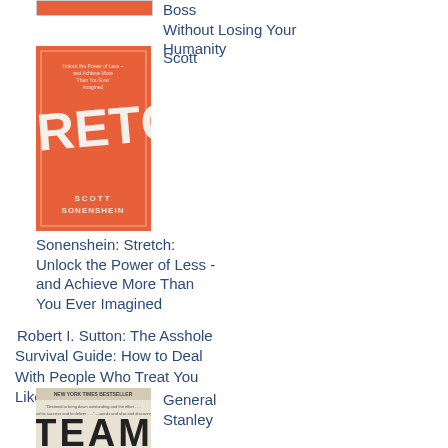[Figure (illustration): Top partial view of a red book cover]
Boss Without Losing Your Humanity
[Figure (illustration): Book cover of Stretch by Scott Sonenshein - orange/red cover with large white STRETCH text]
Scott
Sonenshein: Stretch: Unlock the Power of Less - and Achieve More Than You Ever Imagined
Robert I. Sutton: The Asshole Survival Guide: How to Deal With People Who Treat You Like Dirt
[Figure (illustration): Partial view of a book cover - Team - New York Times Bestseller]
General Stanley